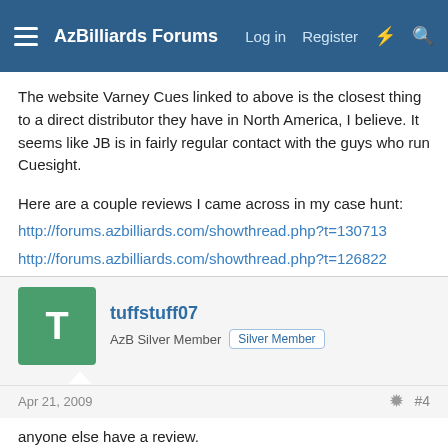AzBilliards Forums
The website Varney Cues linked to above is the closest thing to a direct distributor they have in North America, I believe. It seems like JB is in fairly regular contact with the guys who run Cuesight.
Here are a couple reviews I came across in my case hunt:
http://forums.azbilliards.com/showthread.php?t=130713
http://forums.azbilliards.com/showthread.php?t=126822
tuffstuff07
AzB Silver Member  Silver Member
Apr 21, 2009  #4
anyone else have a review.